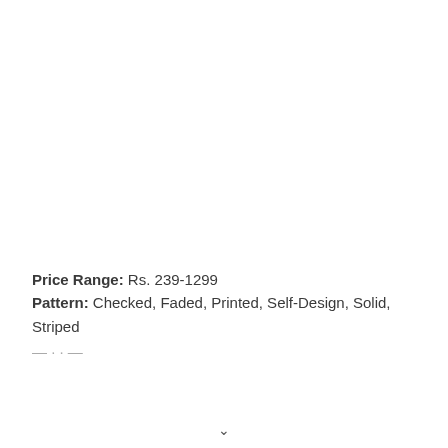Price Range: Rs. 239-1299
Pattern: Checked, Faded, Printed, Self-Design, Solid, Striped
— · · —